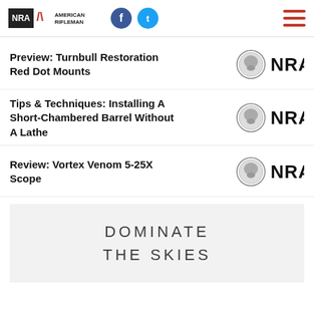NRA American Rifleman
Preview: Turnbull Restoration Red Dot Mounts
Tips & Techniques: Installing A Short-Chambered Barrel Without A Lathe
Review: Vortex Venom 5-25X Scope
[Figure (advertisement): Gray advertisement banner with large spaced light text reading DOMINATE THE SKIES]